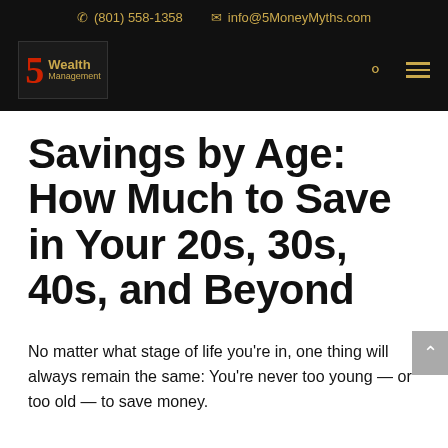(801) 558-1358  info@5MoneyMyths.com
[Figure (logo): 5 Wealth Management logo with red numeral 5 and gold text on dark background]
Savings by Age: How Much to Save in Your 20s, 30s, 40s, and Beyond
No matter what stage of life you're in, one thing will always remain the same: You're never too young — or too old — to save money.